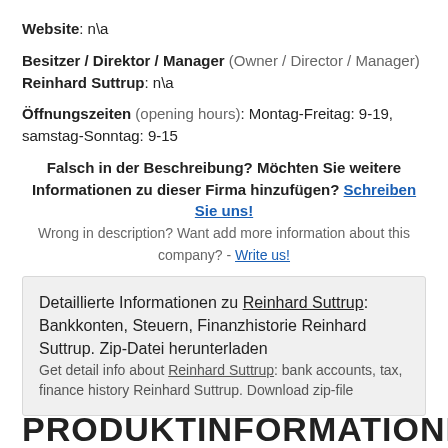Website: n\a
Besitzer / Direktor / Manager (Owner / Director / Manager)
Reinhard Suttrup: n\a
Öffnungszeiten (opening hours): Montag-Freitag: 9-19, samstag-Sonntag: 9-15
Falsch in der Beschreibung? Möchten Sie weitere Informationen zu dieser Firma hinzufügen? Schreiben Sie uns!
Wrong in description? Want add more information about this company? - Write us!
Detaillierte Informationen zu Reinhard Suttrup: Bankkonten, Steuern, Finanzhistorie Reinhard Suttrup. Zip-Datei herunterladen
Get detail info about Reinhard Suttrup: bank accounts, tax, finance history Reinhard Suttrup. Download zip-file
PRODUKTINFORMATIONE